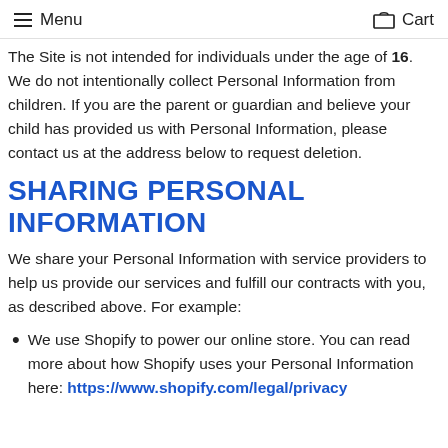Menu  Cart
The Site is not intended for individuals under the age of 16. We do not intentionally collect Personal Information from children. If you are the parent or guardian and believe your child has provided us with Personal Information, please contact us at the address below to request deletion.
SHARING PERSONAL INFORMATION
We share your Personal Information with service providers to help us provide our services and fulfill our contracts with you, as described above. For example:
We use Shopify to power our online store. You can read more about how Shopify uses your Personal Information here: https://www.shopify.com/legal/privacy